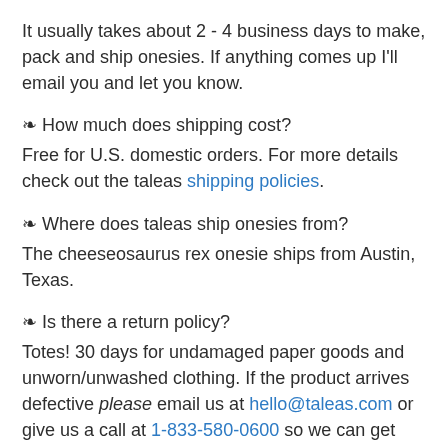It usually takes about 2 - 4 business days to make, pack and ship onesies. If anything comes up I'll email you and let you know.
❧ How much does shipping cost?
Free for U.S. domestic orders. For more details check out the taleas shipping policies.
❧ Where does taleas ship onesies from?
The cheeseosaurus rex onesie ships from Austin, Texas.
❧ Is there a return policy?
Totes! 30 days for undamaged paper goods and unworn/unwashed clothing. If the product arrives defective please email us at hello@taleas.com or give us a call at 1-833-580-0600 so we can get your